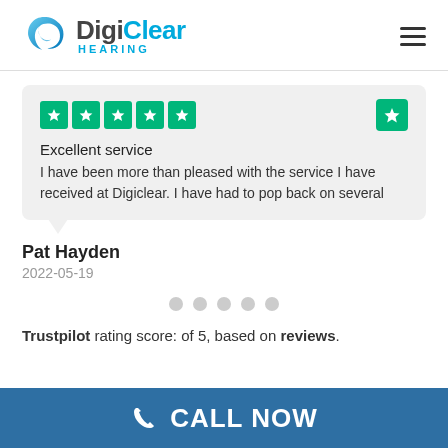[Figure (logo): DigiClear Hearing logo with blue swirl icon and text]
[Figure (infographic): Trustpilot review card with 5 green stars, title 'Excellent service', review text about being pleased with service at Digiclear, with a small Trustpilot star icon in top right]
Pat Hayden
2022-05-19
Trustpilot rating score: of 5, based on reviews.
CALL NOW